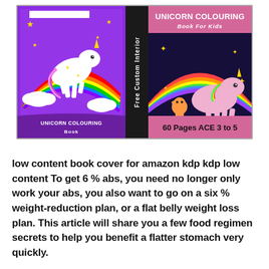[Figure (illustration): Two unicorn colouring book covers side by side. Left cover shows a white unicorn jumping over a rainbow on a purple background with text 'UNICORN COLOURING Book'. A dark spine between them reads 'Free Custom Interior'. Right cover shows a pink unicorn with a rainbow on a dark background, with title 'UNICORN COLOURING Book For Kids' and '60 Pages AGE 3 to 5'.]
low content book cover for amazon kdp kdp low content To get 6 % abs, you need no longer only work your abs, you also want to go on a six % weight-reduction plan, or a flat belly weight loss plan. This article will share you a few food regimen secrets to help you benefit a flatter stomach very quickly.